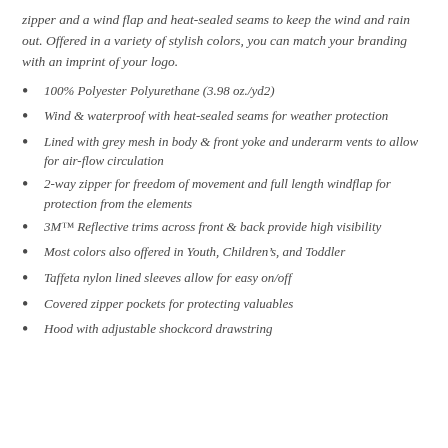zipper and a wind flap and heat-sealed seams to keep the wind and rain out. Offered in a variety of stylish colors, you can match your branding with an imprint of your logo.
100% Polyester Polyurethane (3.98 oz./yd2)
Wind & waterproof with heat-sealed seams for weather protection
Lined with grey mesh in body & front yoke and underarm vents to allow for air-flow circulation
2-way zipper for freedom of movement and full length windflap for protection from the elements
3M™ Reflective trims across front & back provide high visibility
Most colors also offered in Youth, Children's, and Toddler
Taffeta nylon lined sleeves allow for easy on/off
Covered zipper pockets for protecting valuables
Hood with adjustable shockcord drawstring